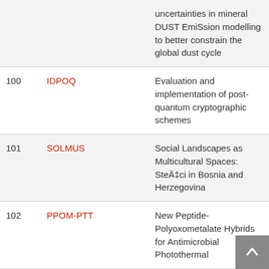| # | Acronym | Description |
| --- | --- | --- |
|  |  | uncertainties in mineral DUST EmiSsion modelling to better constrain the global dust cycle |
| 100 | IDPOQ | Evaluation and implementation of post-quantum cryptographic schemes |
| 101 | SOLMUS | Social Landscapes as Multicultural Spaces: Steäçi in Bosnia and Herzegovina |
| 102 | PPOM-PTT | New Peptide-Polyoxometalate Hybrids for Antimicrobial Photothermal |